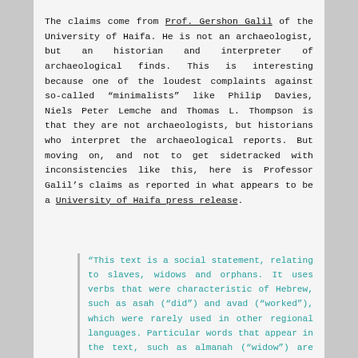The claims come from Prof. Gershon Galil of the University of Haifa. He is not an archaeologist, but an historian and interpreter of archaeological finds. This is interesting because one of the loudest complaints against so-called "minimalists" like Philip Davies, Niels Peter Lemche and Thomas L. Thompson is that they are not archaeologists, but historians who interpret the archaeological reports. But moving on, and not to get sidetracked with inconsistencies like this, here is Professor Galil's claims as reported in what appears to be a University of Haifa press release.
“This text is a social statement, relating to slaves, widows and orphans. It uses verbs that were characteristic of Hebrew, such as asah (“did”) and avad (“worked”), which were rarely used in other regional languages. Particular words that appear in the text, such as almanah (“widow”) are specific to Hebrew and are written differently in other local